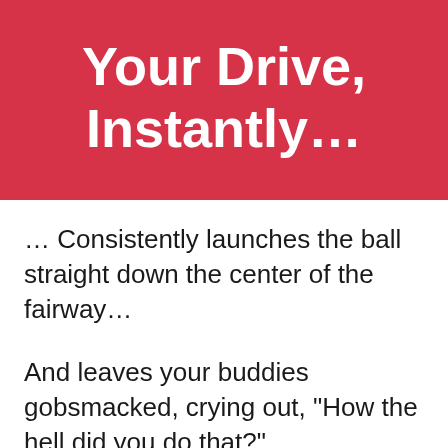Your Drive, Instantly…
… Consistently launches the ball straight down the center of the fairway…
And leaves your buddies gobsmacked, crying out, "How the hell did you do that?"
This simple pre-shot ritual feeds into